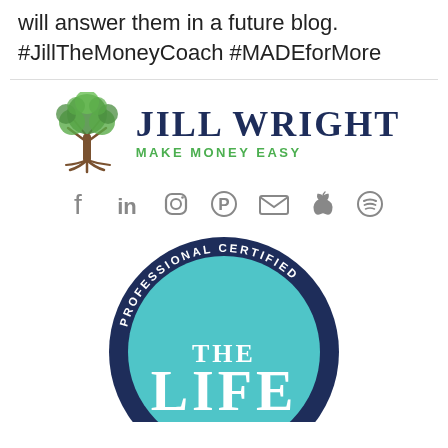will answer them in a future blog. #JillTheMoneyCoach #MADEforMore
[Figure (logo): Jill Wright Make Money Easy logo with tree icon]
[Figure (infographic): Social media icons row: Facebook, LinkedIn, Instagram, Pinterest, Email, Apple, Spotify]
[Figure (illustration): Professional Certified badge with teal and navy circle, text THE LIFE partially visible]